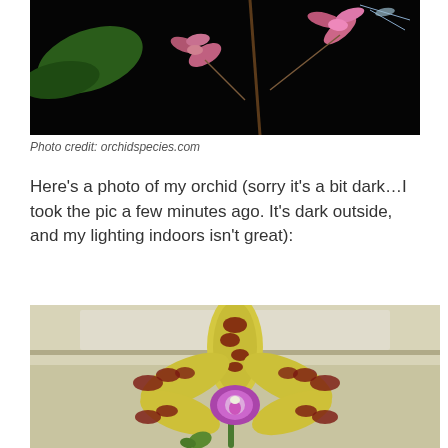[Figure (photo): Close-up photo of orchid flowers on dark black background, showing pink and reddish-pink small orchid blooms with green stem/leaves, from orchidspecies.com]
Photo credit: orchidspecies.com
Here’s a photo of my orchid (sorry it’s a bit dark…I took the pic a few minutes ago. It’s dark outside, and my lighting indoors isn’t great):
[Figure (photo): Close-up photo of a yellow and dark red spotted orchid flower indoors, with blurred background showing white cabinets. The flower has star-shaped petals with dark red markings and a pink-purple center lip.]